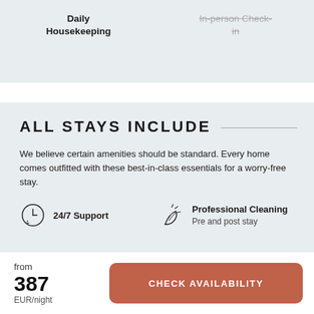Daily Housekeeping
In-person Check-in
ALL STAYS INCLUDE
We believe certain amenities should be standard. Every home comes outfitted with these best-in-class essentials for a worry-free stay.
24/7 Support
Professional Cleaning
Pre and post stay
Kitchen Essentials
from
387
EUR/night
CHECK AVAILABILITY